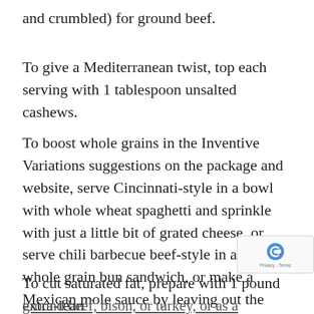and crumbled) for ground beef.
To give a Mediterranean twist, top each serving with 1 tablespoon unsalted cashews.
To boost whole grains in the Inventive Variations suggestions on the package and website, serve Cincinnati-style in a bowl with whole wheat spaghetti and sprinkle with just a little bit of grated cheese, or serve chili barbecue beef-style in a soft whole grain bun sandwich, or make a Mexican mole sauce by leaving out the meat. Cover and simmer for 30 minutes. Serve as a sauce over chicken breasts with brown or wild rice.
To cut saturated fat, prepare with 1 pound extra-lean ground beef, bison, or turkey, or as a Vegetarian